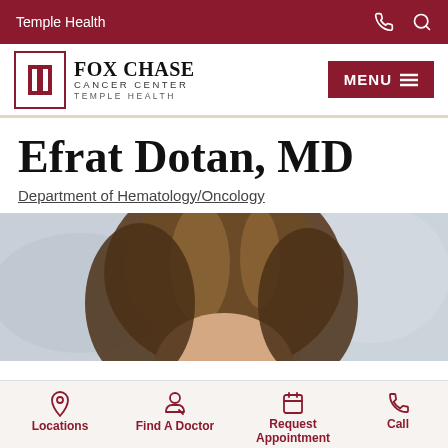Temple Health
[Figure (logo): Fox Chase Cancer Center Temple Health logo with red T icon]
Efrat Dotan, MD
Department of Hematology/Oncology
[Figure (photo): Portrait photo of Dr. Efrat Dotan, partially visible, brown hair, blurred background]
Locations | Find A Doctor | Request Appointment | Call